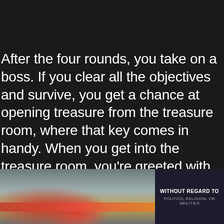After the four rounds, you take on a boss. If you clear all the objectives and survive, you get a chance at opening treasure from the treasure room, where that key comes in handy. When you get into the treasure room, you're greeted with two small chests and a large one. You can open the two smaller chests no problem but need that key for the big chest. My first through on three different toons netted me an exotic and two legendaries weapons for each character. Subsequent openings of the large chest usually netted me a legendary weapon or strange coins. No compatible source was found for this media.
[Figure (photo): Advertisement banner showing an airplane being loaded with cargo, with text 'WITHOUT REGARD TO POLITICS, RELIGION, OR ABILITIES' on the right side]